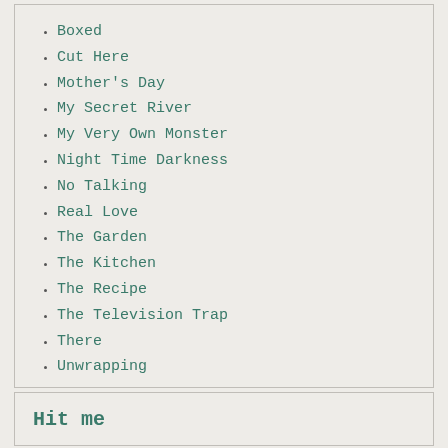Boxed
Cut Here
Mother's Day
My Secret River
My Very Own Monster
Night Time Darkness
No Talking
Real Love
The Garden
The Kitchen
The Recipe
The Television Trap
There
Unwrapping
Hit me